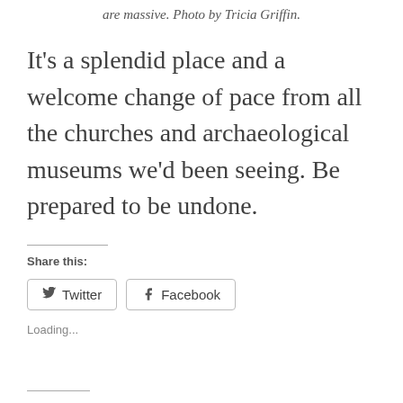are massive. Photo by Tricia Griffin.
It's a splendid place and a welcome change of pace from all the churches and archaeological museums we'd been seeing. Be prepared to be undone.
Share this:
Twitter  Facebook
Loading...
Related